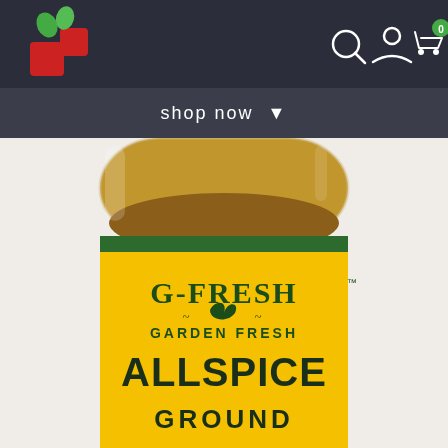[Figure (screenshot): E-commerce website navigation bar with red/green logo on left and search, account, cart (0), and menu icons on right, on dark navy background]
shop now ▾
[Figure (photo): Close-up photo of a G-Fresh Garden Fresh Allspice Ground spice jar with yellow label and green stripe, showing ground allspice inside the clear container]